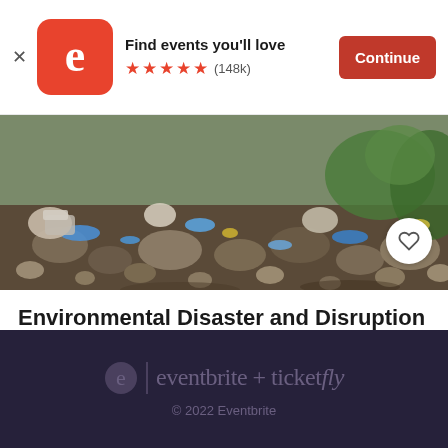Find events you'll love ★★★★★ (148k) Continue
[Figure (photo): Photo of debris, trash, and environmental waste scattered on ground with rocks and blue plastic waste]
Environmental Disaster and Disruption
Fri, Sep 9, 2022 2:00 AM GMT
Free
eventbrite + ticketfly © 2022 Eventbrite